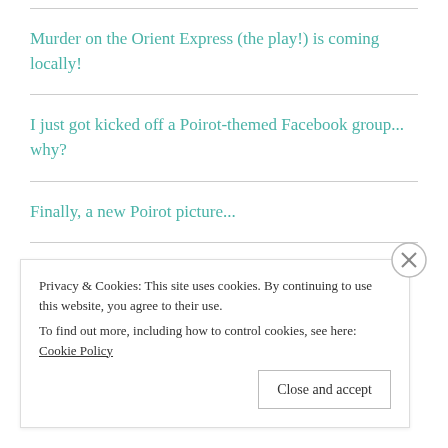Murder on the Orient Express (the play!) is coming locally!
I just got kicked off a Poirot-themed Facebook group... why?
Finally, a new Poirot picture...
RECENT COMMENTS
Privacy & Cookies: This site uses cookies. By continuing to use this website, you agree to their use.
To find out more, including how to control cookies, see here: Cookie Policy
Close and accept